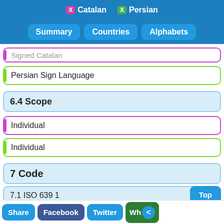X Catalan  X Persian
Summary  Countries  Alphabets
Signed Catalan
Persian Sign Language
6.4 Scope
Individual
Individual
7 Code
7.1 ISO 639 1
Top
ADD ⊕ Compare
ca
fa
Share  Facebook  Twitter  Wh<